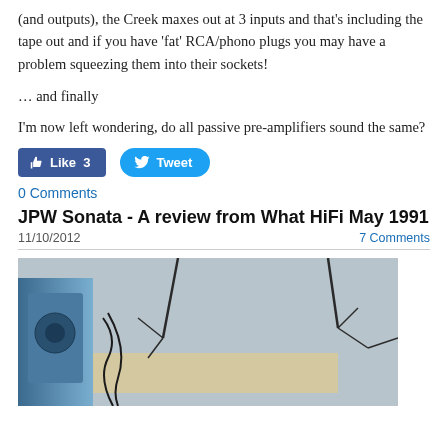(and outputs), the Creek maxes out at 3 inputs and that's including the tape out and if you have 'fat' RCA/phono plugs you may have a problem squeezing them into their sockets!
… and finally
I'm now left wondering, do all passive pre-amplifiers sound the same?
[Figure (other): Facebook Like button showing count 3 and Twitter Tweet button]
0 Comments
JPW Sonata - A review from What HiFi May 1991
11/10/2012   7 Comments
[Figure (photo): Photo of JPW Sonata speakers with cables, showing a blue speaker and wooden cabinet against a grey background with dark branches visible]